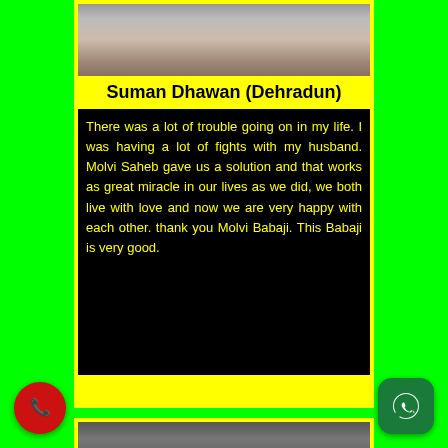[Figure (photo): Blurred/cropped photo of a person at the top of a testimonial card]
Suman Dhawan (Dehradun)
There was a lot of trouble going on in my life. I was having a lot of fights with my husband. Molvi Saheb gave us a solution and that works as great miracle in our lives as we did, we both live with love and now we are very happy with each other. thank you Molvi Babaji. This Babaji is very good.
[Figure (photo): Blurred/cropped photo of a person at the bottom of the page (second testimonial card, partially visible)]